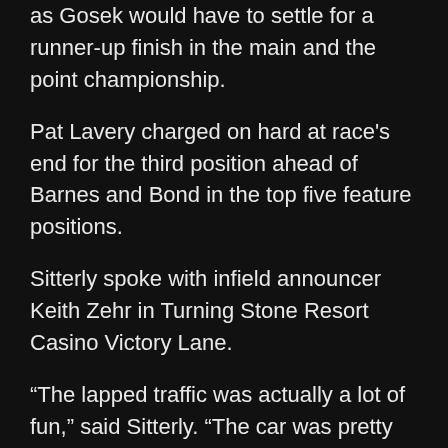as Gosek would have to settle for a runner-up finish in the main and the point championship.
Pat Lavery charged on hard at race's end for the third position ahead of Barnes and Bond in the top five feature positions.
Sitterly spoke with infield announcer Keith Zehr in Turning Stone Resort Casino Victory Lane.
“The lapped traffic was actually a lot of fun,” said Sitterly. “The car was pretty good, that is Davey Hamilton’s car right there that is the car that was in the wall two weeks ago. We put it back together all fresh and after I put my car in the wall a few weeks back it just hasn’t been the